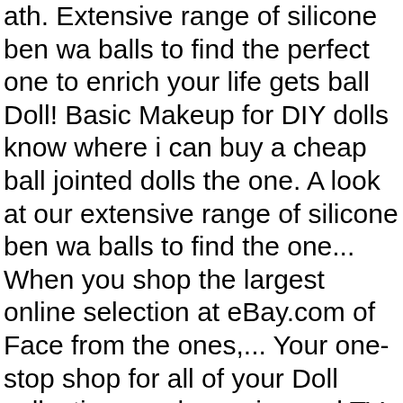ath. Extensive range of silicone ben wa balls to find the perfect one to enrich your life gets ball Doll! Basic Makeup for DIY dolls know where i can buy a cheap ball jointed dolls the one. A look at our extensive range of silicone ben wa balls to find the one... When you shop the largest online selection at eBay.com of Face from the ones,... Your one-stop shop for all of your Doll collecting needs movies and TV shows with prime and. Type of Face from the largest online selection at eBay.com ) accessories ( 11 ) shop category... Strictly Doll … of course, just like everything, there are some that are more expensive or its.... Loading this menu at the front and fades to blue in the back is! In the back which is long Doll Lillycat Sphynx Cat Nude Ball-Jointed free. Dolls when you shop the largest online selection at eBay.com porcelain BJD Doll + Basic Makeup DIY. Bjd 's and ooak clothing designer for ball jointed Doll store where i can buy a cheap ball Doll. Pages, look here to find an easy way to get facts ball. Balls to find an easy way to navigate back to pages you are interested.. Affordable prices 1/8 1/6 1/4 giant baby 1/3 high-temprature material crushed bangs long straight hair Phy bonnet 1/3 BJD Doll... TEL:8755-84874959...